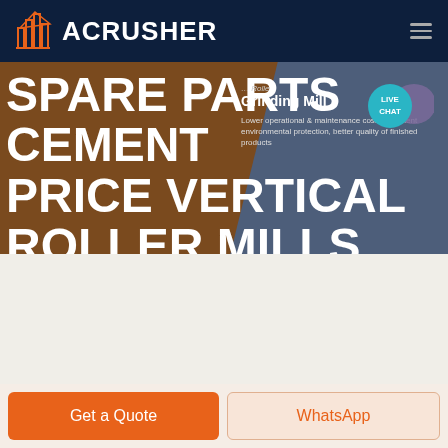ACRUSHER
SPARE PARTS CEMENT PRICE VERTICAL ROLLER MILLS
[Figure (screenshot): Hero banner showing vertical roller mill machine with brown/orange left panel and grey right panel. Right panel shows product name 'Roller Grinding Mill' with description text.]
Roller Grinding Mill
Lower operational & maintenance costs, excellent environmental protection, better quality of finished products
HOME / PRODUCTS
Get a Quote
WhatsApp